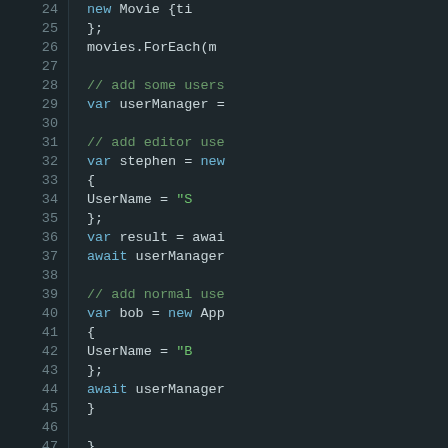[Figure (screenshot): Code editor screenshot showing C# code lines 24-49 with dark theme. Line numbers on left, code on right with syntax highlighting: keywords in blue, strings in green, comments in muted green.]